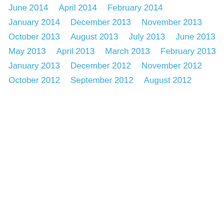June 2014
April 2014
February 2014
January 2014
December 2013
November 2013
October 2013
August 2013
July 2013
June 2013
May 2013
April 2013
March 2013
February 2013
January 2013
December 2012
November 2012
October 2012
September 2012
August 2012